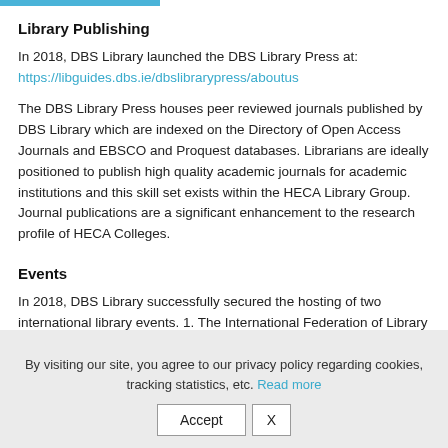Library Publishing
In 2018, DBS Library launched the DBS Library Press at: https://libguides.dbs.ie/dbslibrarypress/aboutus
The DBS Library Press houses peer reviewed journals published by DBS Library which are indexed on the Directory of Open Access Journals and EBSCO and Proquest databases. Librarians are ideally positioned to publish high quality academic journals for academic institutions and this skill set exists within the HECA Library Group. Journal publications are a significant enhancement to the research profile of HECA Colleges.
Events
In 2018, DBS Library successfully secured the hosting of two international library events. 1. The International Federation of Library Association's Library Publishing Conference for 2019 and 2. Kohacon (beating the University of Stockholm) for June. A
By visiting our site, you agree to our privacy policy regarding cookies, tracking statistics, etc. Read more